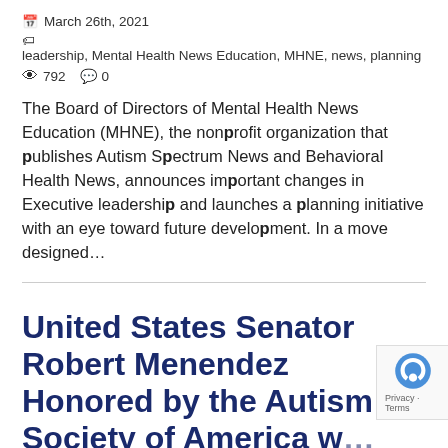March 26th, 2021
leadership, Mental Health News Education, MHNE, news, planning
792  0
The Board of Directors of Mental Health News Education (MHNE), the nonprofit organization that publishes Autism Spectrum News and Behavioral Health News, announces important changes in Executive leadership and launches a planning initiative with an eye toward future development. In a move designed…
United States Senator Robert Menendez Honored by the Autism Society of America w the Daniel Jordan Fiddle